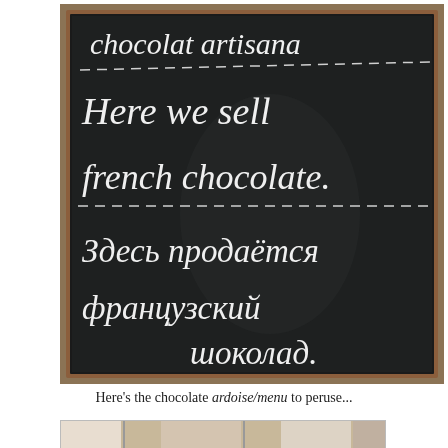[Figure (photo): A chalkboard sign with a wooden frame on a dark background. Written in white chalk: 'chocolat artisana' (top, partially cut off), a dashed line, 'Here we sell french chocolate.' in handwritten English, another dashed line, then 'Здесь продаётся французский шоколад.' in Russian handwriting.]
Here's the chocolate ardoise/menu to peruse...
[Figure (photo): A partial view of a second photo at the bottom of the page, showing what appears to be a chocolate shop interior or display.]